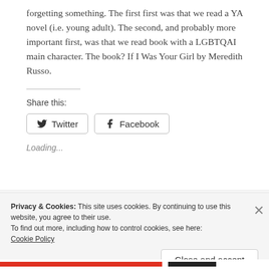forgetting something. The first first was that we read a YA novel (i.e. young adult). The second, and probably more important first, was that we read book with a LGBTQAI main character. The book? If I Was Your Girl by Meredith Russo.
Share this:
Twitter  Facebook
Loading...
Privacy & Cookies: This site uses cookies. By continuing to use this website, you agree to their use.
To find out more, including how to control cookies, see here: Cookie Policy
Close and accept